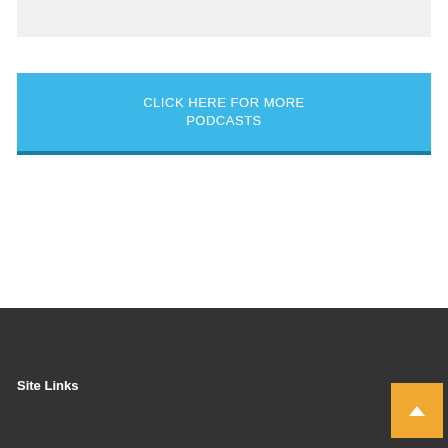[Figure (other): Gray rectangular bar at top of page]
CLICK HERE FOR MORE PODCASTS
Site Links